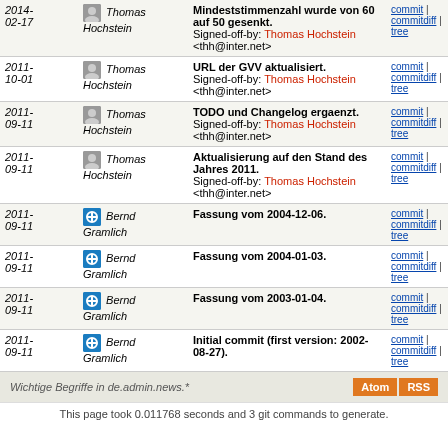| Date | Author | Message | Links |
| --- | --- | --- | --- |
| 2014-02-17 | Thomas Hochstein | Mindeststimmenzahl wurde von 60 auf 50 gesenkt. Signed-off-by: Thomas Hochstein <thh@inter.net> | commit | commitdiff | tree |
| 2011-10-01 | Thomas Hochstein | URL der GVV aktualisiert. Signed-off-by: Thomas Hochstein <thh@inter.net> | commit | commitdiff | tree |
| 2011-09-11 | Thomas Hochstein | TODO und Changelog ergaenzt. Signed-off-by: Thomas Hochstein <thh@inter.net> | commit | commitdiff | tree |
| 2011-09-11 | Thomas Hochstein | Aktualisierung auf den Stand des Jahres 2011. Signed-off-by: Thomas Hochstein <thh@inter.net> | commit | commitdiff | tree |
| 2011-09-11 | Bernd Gramlich | Fassung vom 2004-12-06. | commit | commitdiff | tree |
| 2011-09-11 | Bernd Gramlich | Fassung vom 2004-01-03. | commit | commitdiff | tree |
| 2011-09-11 | Bernd Gramlich | Fassung vom 2003-01-04. | commit | commitdiff | tree |
| 2011-09-11 | Bernd Gramlich | Initial commit (first version: 2002-08-27). | commit | commitdiff | tree |
Wichtige Begriffe in de.admin.news.*
This page took 0.011768 seconds and 3 git commands to generate.